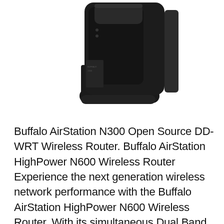[Figure (photo): A black Buffalo AirStation wireless router standing upright on its base, viewed from a slight angle showing the front and side panels. The device has a rectangular body with a curved stand/base.]
Buffalo AirStation N300 Open Source DD-WRT Wireless Router. Buffalo AirStation HighPower N600 Wireless Router Experience the next generation wireless network performance with the Buffalo AirStation HighPower N600 Wireless Router. With its simultaneous Dual Band WiFi-2.4 & 5GHz technology, this excellent wireless router delivers seamless wireless transmission up to